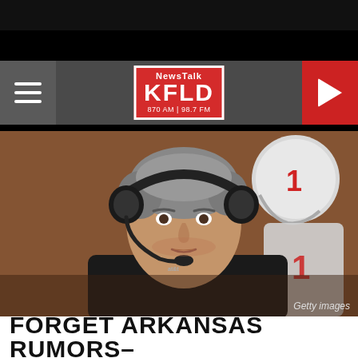[Figure (screenshot): NewsTalk KFLD 870 AM / 98.7 FM radio station website header with hamburger menu, KFLD logo in red, and red play button]
[Figure (photo): Football coach wearing black headset and AT&T branded equipment, with a football player in white helmet visible in background. Getty Images photo.]
FORGET ARKANSAS RUMORS–